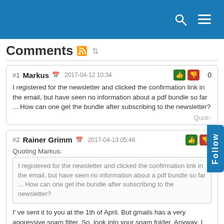Comments page header with search and menu icons
Comments
#1 Markus 2017-04-12 10:34 — I registered for the newsletter and clicked the confirmation link in the email, but have seen no information about a pdf bundle so far ... How can one get the bundle after subscribing to the newsletter?
#2 Rainer Grimm 2017-04-13 05:48 — Quoting Markus: I registered for the newsletter and clicked the confirmation link in the email, but have seen no information about a pdf bundle so far ... How can one get the bundle after subscribing to the newsletter? I've sent it to you at the 1th of April. But gmails has a very aggressive spam filter. So, look into your spam folder. Anyway, I will send it once more.
#3 Manuela 2017-12-12 06:14 — Hey there I am so excited I found your web site, I really